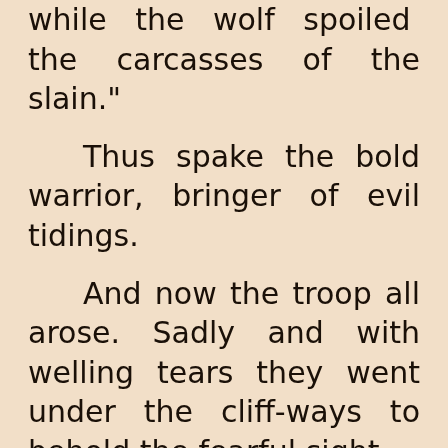while the wolf spoiled the carcasses of the slain."
Thus spake the bold warrior, bringer of evil tidings.
And now the troop all arose. Sadly and with welling tears they went under the cliff-ways to behold the fearful sight.
They found upon the sand, lifeless and soulless, him who before time had given them gifts.